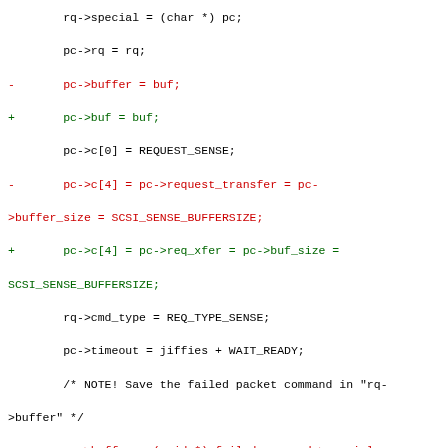Code diff showing changes to ide-scsi driver, including rq->special, pc->rq, pc->buffer/buf, pc->c[0], pc->c[4] assignments, rq->cmd_type, pc->timeout, rq->buffer, pc->scsi_cmd, and idescsi_atapi_abort function.